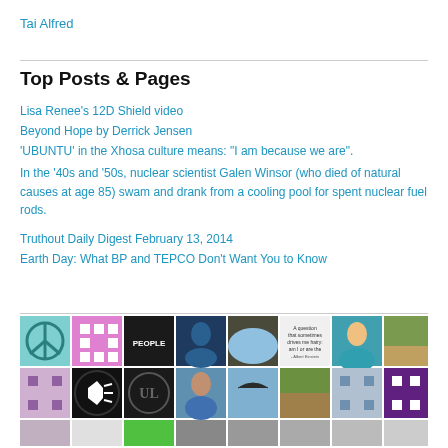Tai Alfred
Top Posts & Pages
Lisa Renee's 12D Shield video
Beyond Hope by Derrick Jensen
'UBUNTU' in the Xhosa culture means: "I am because we are".
In the '40s and '50s, nuclear scientist Galen Winsor (who died of natural causes at age 85) swam and drank from a cooling pool for spent nuclear fuel rods.
Truthout Daily Digest February 13, 2014
Earth Day: What BP and TEPCO Don't Want You to Know
[Figure (photo): Grid of thumbnail images showing various photos and icons in two rows]